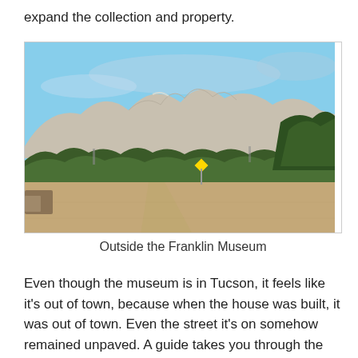expand the collection and property.
[Figure (photo): Outdoor scene showing a dirt road leading through desert scrub vegetation with mountains and blue sky in the background, and a yellow diamond-shaped road sign visible near the center.]
Outside the Franklin Museum
Even though the museum is in Tucson, it feels like it's out of town, because when the house was built, it was out of town. Even the street it's on somehow remained unpaved. A guide takes you through the